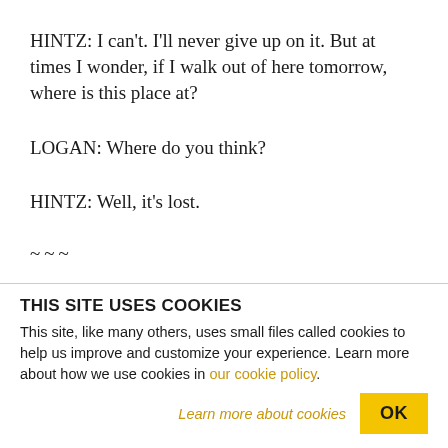HINTZ: I can't. I'll never give up on it. But at times I wonder, if I walk out of here tomorrow, where is this place at?
LOGAN: Where do you think?
HINTZ: Well, it's lost.
~~~
THIS SITE USES COOKIES
This site, like many others, uses small files called cookies to help us improve and customize your experience. Learn more about how we use cookies in our cookie policy.
Learn more about cookies
OK